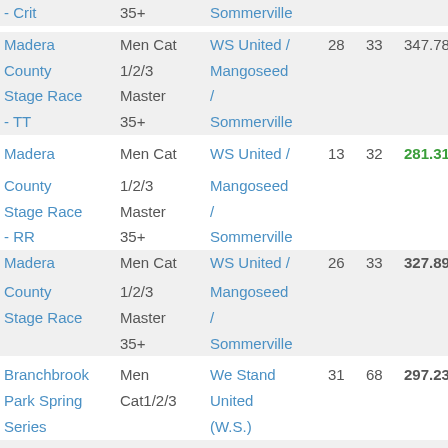| Race | Category | Team | # | Tot | Pts |  |
| --- | --- | --- | --- | --- | --- | --- |
| - Crit | 35+ | Sommerville |  |  |  |  |
| Madera County Stage Race - TT | Men Cat 1/2/3 Master 35+ | WS United / Mangoseed / Sommerville | 28 | 33 | 347.78 |  |
| Madera County Stage Race - RR | Men Cat 1/2/3 Master 35+ | WS United / Mangoseed / Sommerville | 13 | 32 | 281.31 | 12 |
| Madera County Stage Race | Men Cat 1/2/3 Master 35+ | WS United / Mangoseed / Sommerville | 26 | 33 | 327.89 | * |
| Branchbrook Park Spring Series | Men Cat1/2/3 | We Stand United (W.S.) | 31 | 68 | 297.23 |  |
| Devil's Punchbowl | Men P/1/2 | We Stand United | 22 | 26 | 280.54 |  |